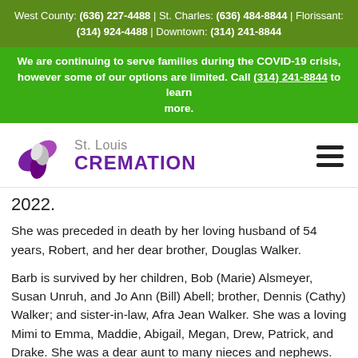West County: (636) 227-4488 | St. Charles: (636) 484-8844 | Florissant: (314) 924-4488 | Downtown: (314) 241-8844
We are continuing to serve families during the COVID-19 crisis, however some of our options are limited. Call (314) 241-8844 to learn more.
[Figure (logo): St. Louis Cremation logo with purple heart/leaf icon and text]
2022.
She was preceded in death by her loving husband of 54 years, Robert, and her dear brother, Douglas Walker.
Barb is survived by her children, Bob (Marie) Alsmeyer, Susan Unruh, and Jo Ann (Bill) Abell; brother, Dennis (Cathy) Walker; and sister-in-law, Afra Jean Walker. She was a loving Mimi to Emma, Maddie, Abigail, Megan, Drew, Patrick, and Drake. She was a dear aunt to many nieces and nephews. Barb was a very special friend to Chris, Bettina, Gavin, and Katelyn Pignataro.